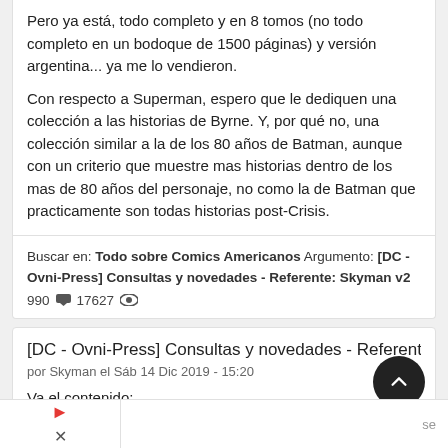Pero ya está, todo completo y en 8 tomos (no todo completo en un bodoque de 1500 páginas) y versión argentina... ya me lo vendieron.
Con respecto a Superman, espero que le dediquen una colección a las historias de Byrne. Y, por qué no, una colección similar a la de los 80 años de Batman, aunque con un criterio que muestre mas historias dentro de los mas de 80 años del personaje, no como la de Batman que practicamente son todas historias post-Crisis.
Buscar en: Todo sobre Comics Americanos Argumento: [DC - Ovni-Press] Consultas y novedades - Referente: Skyman v2
990 💬 17627 👁
[DC - Ovni-Press] Consultas y novedades - Referente: Skyman
por Skyman el Sáb 14 Dic 2019 - 15:20
Va el contenido: